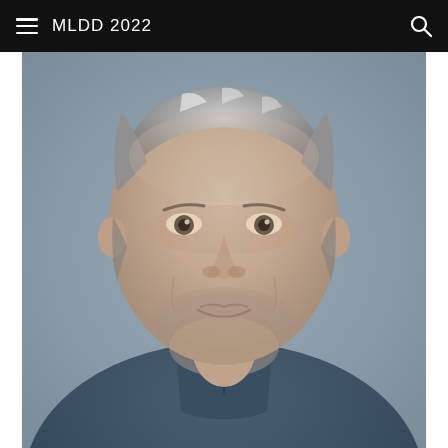MLDD 2022
[Figure (photo): Headshot portrait of a middle-aged man with gray-streaked hair, slight stubble, smiling gently, wearing a dark navy blue button-up shirt, against a neutral gray background.]